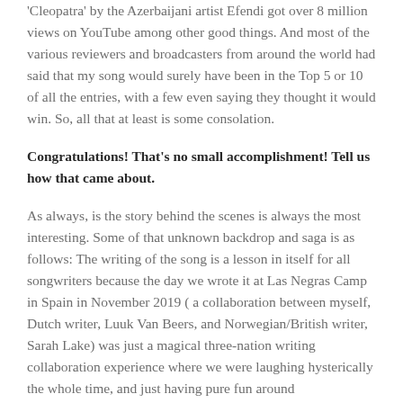'Cleopatra' by the Azerbaijani artist Efendi got over 8 million views on YouTube among other good things. And most of the various reviewers and broadcasters from around the world had said that my song would surely have been in the Top 5 or 10 of all the entries, with a few even saying they thought it would win. So, all that at least is some consolation.
Congratulations! That's no small accomplishment! Tell us how that came about.
As always, is the story behind the scenes is always the most interesting. Some of that unknown backdrop and saga is as follows: The writing of the song is a lesson in itself for all songwriters because the day we wrote it at Las Negras Camp in Spain in November 2019 ( a collaboration between myself, Dutch writer, Luuk Van Beers, and Norwegian/British writer, Sarah Lake) was just a magical three-nation writing collaboration experience where we were laughing hysterically the whole time, and just having pure fun around the keys, the guitar, the whole experience, and the whole